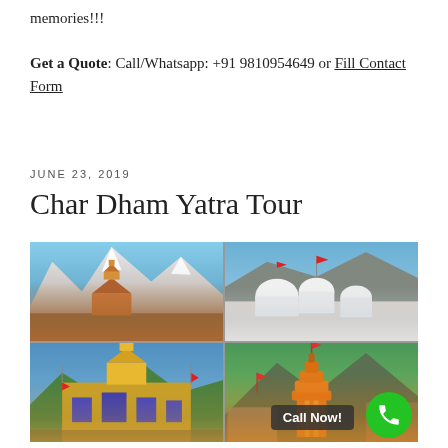memories!!!
Get a Quote: Call/Whatsapp: +91 9810954649 or Fill Contact Form
JUNE 23, 2019
Char Dham Yatra Tour
[Figure (photo): 4-panel photo grid of Char Dham pilgrimage sites: top-left shows Kedarnath temple with snow-capped mountains, top-right shows Gangotri temple white domes, bottom-left shows Badrinath temple with colorful facade, bottom-right shows Yamunotri temple with orange spire. A 'Call Now!' badge and green phone button are overlaid on the bottom-right.]